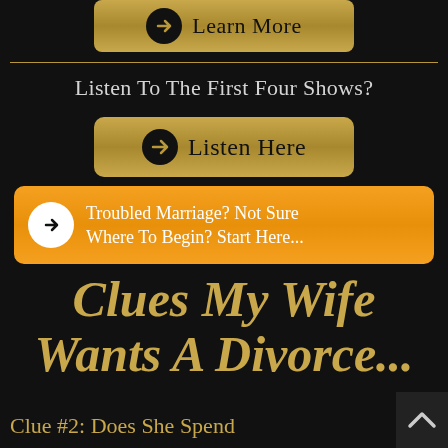[Figure (other): Gold rounded button with arrow icon and text 'Learn More']
[Figure (other): Horizontal gold divider line]
Listen To The First Four Shows?
[Figure (other): Gold rounded button with arrow icon and text 'Listen Here']
[Figure (other): Orange rounded button with white arrow icon and text 'Troubled Marriage? Not Sure Where To Begin? Start Here...']
Clues My Wife Wants A Divorce...
Clue #2: Does She Spend